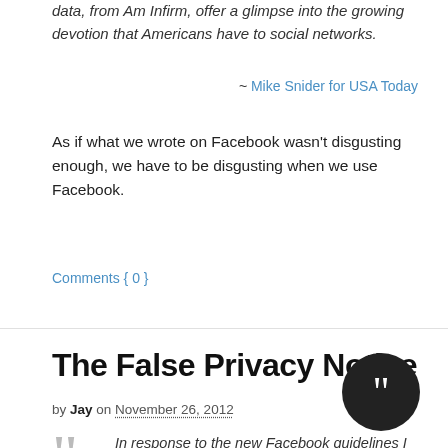data, from Am Infirm, offer a glimpse into the growing devotion that Americans have to social networks.
~ Mike Snider for USA Today
As if what we wrote on Facebook wasn't disgusting enough, we have to be disgusting when we use Facebook.
Comments { 0 }
The False Privacy Notice
by Jay on November 26, 2012
In response to the new Facebook guidelines I hereby declare that my copyright is attached to all of my personal details, illustrations, graphics, comics, paintings, photos and videos, etc. (as a result of the Berner Convention). For commercial use of the above my written consent is needed at all times! (Anyone reading this can copy this text and paste it on their Facebook Wall. This will place them under protection of copyright laws.) By the present communiqué, I notify Facebook that it is strictly forbidden